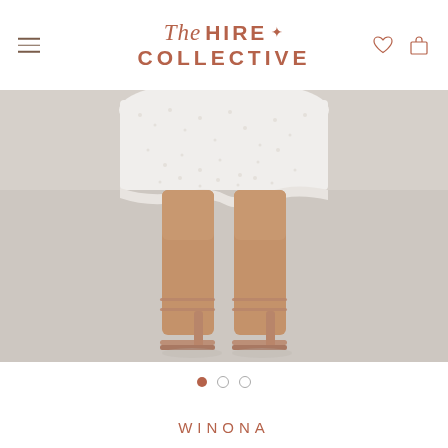The HIRE COLLECTIVE
[Figure (photo): Close-up photo of woman's legs wearing a white sparkly/sequined dress and nude strappy heeled sandals, against a light grey background]
● ○ ○ (carousel indicators, first dot active)
WINONA